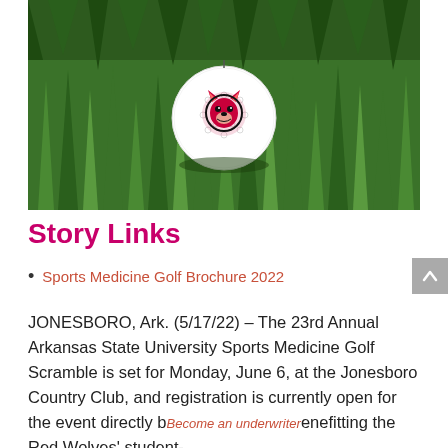[Figure (photo): A white golf ball with Arkansas State University Red Wolves mascot logo printed on it, resting in green grass.]
Story Links
Sports Medicine Golf Brochure 2022
JONESBORO, Ark. (5/17/22) – The 23rd Annual Arkansas State University Sports Medicine Golf Scramble is set for Monday, June 6, at the Jonesboro Country Club, and registration is currently open for the event directly benefitting the Red Wolves' student-